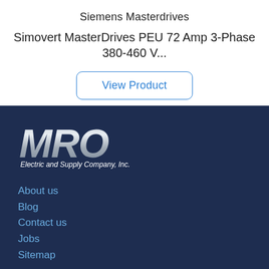Siemens Masterdrives
Simovert MasterDrives PEU 72 Amp 3-Phase 380-460 V...
View Product
[Figure (logo): MRO Electric and Supply Company, Inc. logo — bold silver italic MRO lettering with tagline below]
About us
Blog
Contact us
Jobs
Sitemap
BRANDS